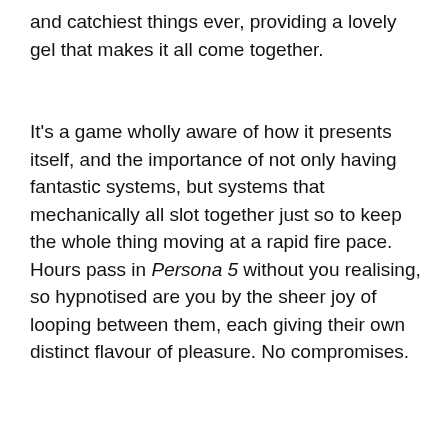and catchiest things ever, providing a lovely gel that makes it all come together.
It's a game wholly aware of how it presents itself, and the importance of not only having fantastic systems, but systems that mechanically all slot together just so to keep the whole thing moving at a rapid fire pace. Hours pass in Persona 5 without you realising, so hypnotised are you by the sheer joy of looping between them, each giving their own distinct flavour of pleasure. No compromises.